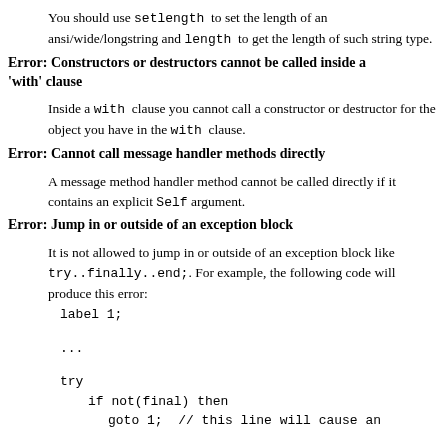You should use setlength to set the length of an ansi/wide/longstring and length to get the length of such string type.
Error: Constructors or destructors cannot be called inside a 'with' clause
Inside a with clause you cannot call a constructor or destructor for the object you have in the with clause.
Error: Cannot call message handler methods directly
A message method handler method cannot be called directly if it contains an explicit Self argument.
Error: Jump in or outside of an exception block
It is not allowed to jump in or outside of an exception block like try..finally..end;. For example, the following code will produce this error:
label 1;

...

try
    if not(final) then
        goto 1;  // this line will cause an